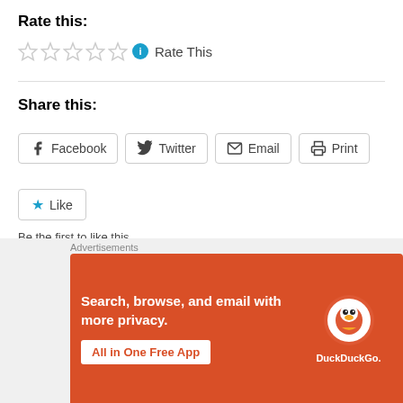Rate this:
[Figure (other): Five empty star rating widgets followed by an info icon and 'Rate This' text]
Share this:
[Figure (other): Social sharing buttons: Facebook, Twitter, Email, Print]
[Figure (other): Like button with star icon]
Be the first to like this.
Related
[Figure (other): DuckDuckGo advertisement banner: Search, browse, and email with more privacy. All in One Free App]
Advertisements